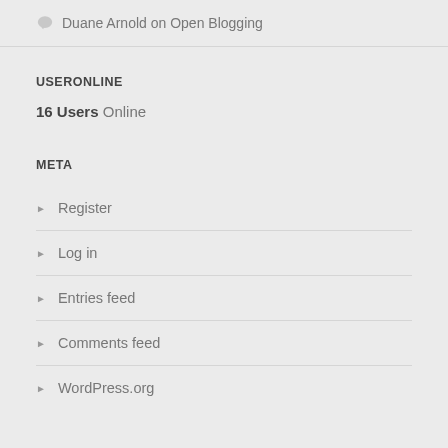Duane Arnold on Open Blogging
USERONLINE
16 Users Online
META
Register
Log in
Entries feed
Comments feed
WordPress.org